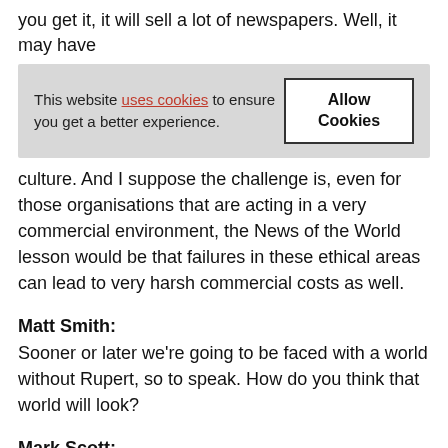you get it, it will sell a lot of newspapers. Well, it may have
[Figure (screenshot): Cookie consent banner with text 'This website uses cookies to ensure you get a better experience.' and an 'Allow Cookies' button.]
culture. And I suppose the challenge is, even for those organisations that are acting in a very commercial environment, the News of the World lesson would be that failures in these ethical areas can lead to very harsh commercial costs as well.
Matt Smith:
Sooner or later we're going to be faced with a world without Rupert, so to speak. How do you think that world will look?
Mark Scott:
Well, I think you talk to a lot of different people and you'll get a lot of different speculation on it. I think one of the interesting things that's emerged through this and Rupert